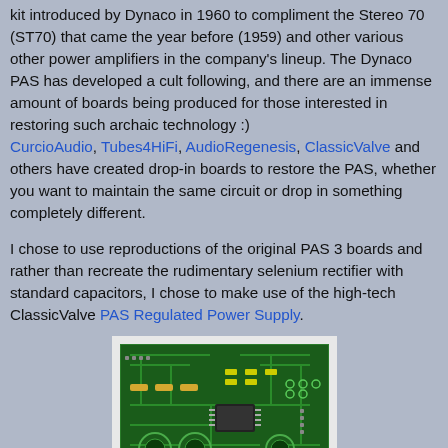kit introduced by Dynaco in 1960 to compliment the Stereo 70 (ST70) that came the year before (1959) and other various other power amplifiers in the company's lineup. The Dynaco PAS has developed a cult following, and there are an immense amount of boards being produced for those interested in restoring such archaic technology :) CurcioAudio, Tubes4HiFi, AudioRegenesis, ClassicValve and others have created drop-in boards to restore the PAS, whether you want to maintain the same circuit or drop in something completely different.
I chose to use reproductions of the original PAS 3 boards and rather than recreate the rudimentary selenium rectifier with standard capacitors, I chose to make use of the high-tech ClassicValve PAS Regulated Power Supply.
[Figure (photo): Green PCB circuit board showing a ClassicValve PAS Regulated Power Supply board with various electronic components, capacitors, and circuit traces visible.]